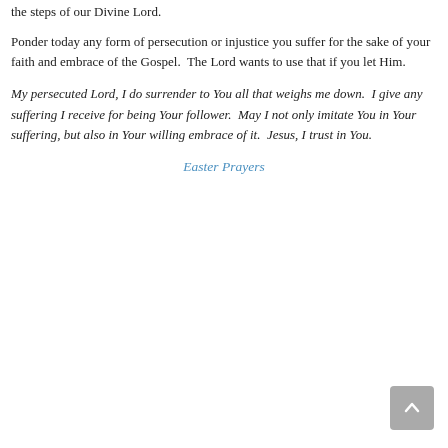the steps of our Divine Lord.
Ponder today any form of persecution or injustice you suffer for the sake of your faith and embrace of the Gospel.  The Lord wants to use that if you let Him.
My persecuted Lord, I do surrender to You all that weighs me down.  I give any suffering I receive for being Your follower.  May I not only imitate You in Your suffering, but also in Your willing embrace of it.  Jesus, I trust in You.
Easter Prayers